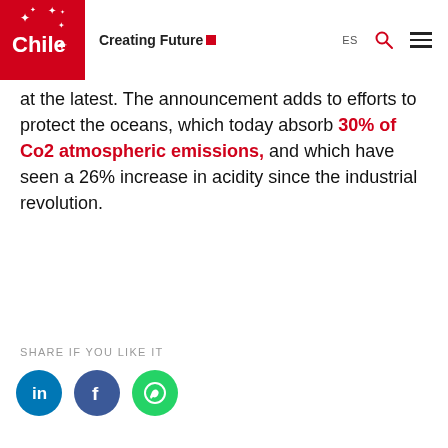[Figure (logo): Chile Creating Future logo — red square with white Chile star logo on left, 'Creating Future' text with red square on right]
at the latest. The announcement adds to efforts to protect the oceans, which today absorb 30% of Co2 atmospheric emissions, and which have seen a 26% increase in acidity since the industrial revolution.
SHARE IF YOU LIKE IT
[Figure (illustration): Social share icons: LinkedIn (blue circle), Facebook (blue circle), WhatsApp (green circle)]